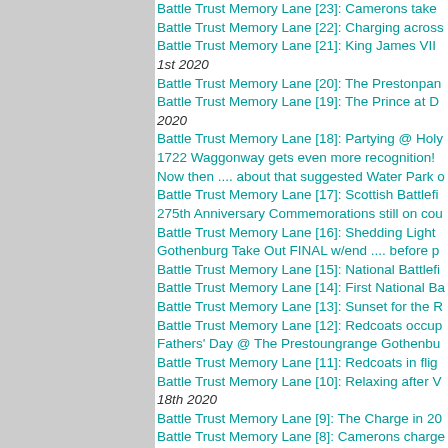Battle Trust Memory Lane [23]: Camerons take
Battle Trust Memory Lane [22]: Charging across
Battle Trust Memory Lane [21]: King James VII
1st 2020
Battle Trust Memory Lane [20]: The Prestonpan
Battle Trust Memory Lane [19]: The Prince at D
2020
Battle Trust Memory Lane [18]: Partying @ Holy
1722 Waggonway gets even more recognition!
Now then .... about that suggested Water Park o
Battle Trust Memory Lane [17]: Scottish Battlefi
275th Anniversary Commemorations still on cou
Battle Trust Memory Lane [16]: Shedding Light
Gothenburg Take Out FINAL w/end .... before p
Battle Trust Memory Lane [15]: National Battlefi
Battle Trust Memory Lane [14]: First National Ba
Battle Trust Memory Lane [13]: Sunset for the R
Battle Trust Memory Lane [12]: Redcoats occup
Fathers' Day @ The Prestoungrange Gothenbu
Battle Trust Memory Lane [11]: Redcoats in flig
Battle Trust Memory Lane [10]: Relaxing after V
18th 2020
Battle Trust Memory Lane [9]: The Charge in 20
Battle Trust Memory Lane [8]: Camerons charge
2020
Battle Trust Memory Lane [7]: Stout Defence @
Battle Trust Memory Lane [6]: Highlanders take
June 11th 2020
Battle Trust Memory Lane [5]: Medal Year on th
Battle Trust Memory Lane [4]: Still Walking 201